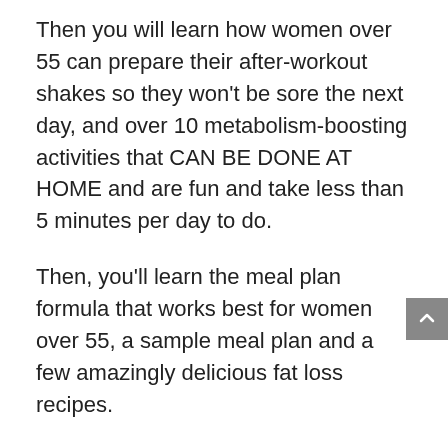Then you will learn how women over 55 can prepare their after-workout shakes so they won't be sore the next day, and over 10 metabolism-boosting activities that CAN BE DONE AT HOME and are fun and take less than 5 minutes per day to do.
Then, you'll learn the meal plan formula that works best for women over 55, a sample meal plan and a few amazingly delicious fat loss recipes.
Towards the end, you'll learn about a small tool that increases blood flow, breaks down fat deposits from thighs, butt, and belly, and reduces your cellulite.
The SLIM OVER 55 Weight Loss Manual is brief, to the point, and only gives you the important weight loss